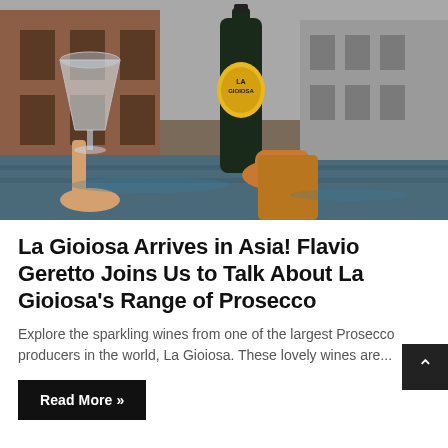[Figure (photo): A hand holding a dark bottle of La Gioiosa Prosecco with a yellow label, being poured into a wine glass held by another hand, with a Venice canal and buildings in the background.]
La Gioiosa Arrives in Asia! Flavio Geretto Joins Us to Talk About La Gioiosa's Range of Prosecco
Explore the sparkling wines from one of the largest Prosecco producers in the world, La Gioiosa. These lovely wines are...
Read More »